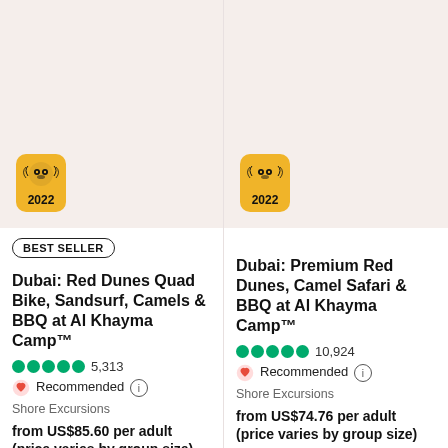[Figure (photo): Product image placeholder (beige/off-white background) for Dubai Red Dunes tour, with Travelers Choice 2022 badge overlay]
BEST SELLER
Dubai: Red Dunes Quad Bike, Sandsurf, Camels & BBQ at Al Khayma Camp™
5,313 reviews, 5 green dots rating
Recommended
Shore Excursions
from US$85.60 per adult (price varies by group size)
[Figure (photo): Product image placeholder (beige/off-white background) for Dubai Premium Red Dunes tour, with Travelers Choice 2022 badge overlay]
Dubai: Premium Red Dunes, Camel Safari & BBQ at Al Khayma Camp™
10,924 reviews, 4.5 green dots rating
Recommended
Shore Excursions
from US$74.76 per adult (price varies by group size)